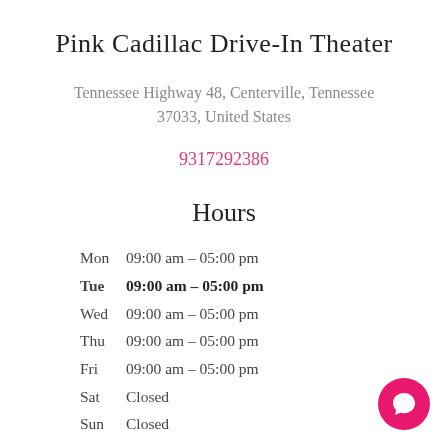Pink Cadillac Drive-In Theater
Tennessee Highway 48, Centerville, Tennessee 37033, United States
9317292386
Hours
| Day | Hours |
| --- | --- |
| Mon | 09:00 am – 05:00 pm |
| Tue | 09:00 am – 05:00 pm |
| Wed | 09:00 am – 05:00 pm |
| Thu | 09:00 am – 05:00 pm |
| Fri | 09:00 am – 05:00 pm |
| Sat | Closed |
| Sun | Closed |